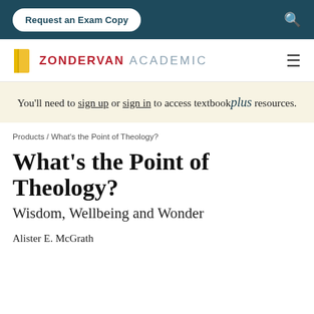Request an Exam Copy
[Figure (logo): Zondervan Academic logo with yellow book icon, ZONDERVAN in red bold caps, ACADEMIC in gray spaced caps]
You’ll need to sign up or sign in to access textbookplus resources.
Products / What’s the Point of Theology?
What’s the Point of Theology?
Wisdom, Wellbeing and Wonder
Alister E. McGrath